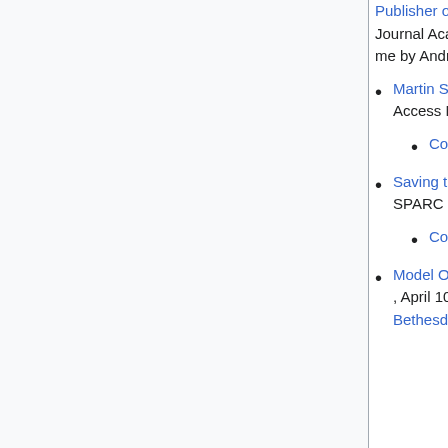Publisher of the SPARC Open Access Newsletter, Library Journal Academic Newswire, July 24, 2003. An interview with me by Andrew Albanese.
Martin Sabo's Public Access to Science Act, SPARC Open Access Newsletter, July 4, 2003.
Copy in DASH.
Saving the oodlehood and shebangity of the internet, SPARC Open Access Newsletter, July 4, 2003.
Copy in DASH.
Model Open-Access Policy for Foundation Research Grants, April 10, 2003. A hand-out for the meeting that produced the Bethesda Statement on Open Access